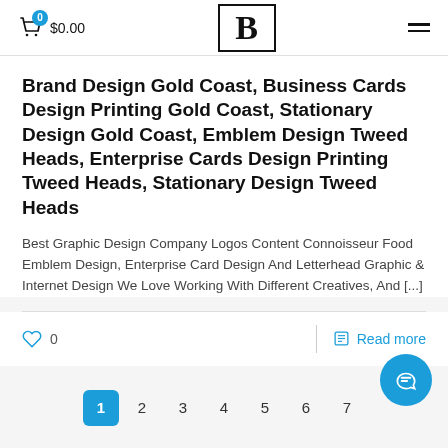$0.00 | B logo | hamburger menu
Brand Design Gold Coast, Business Cards Design Printing Gold Coast, Stationary Design Gold Coast, Emblem Design Tweed Heads, Enterprise Cards Design Printing Tweed Heads, Stationary Design Tweed Heads
Best Graphic Design Company Logos Content Connoisseur Food Emblem Design, Enterprise Card Design And Letterhead Graphic & Internet Design We Love Working With Different Creatives, And [...]
0  |  Read more
1  2  3  4  5  6  7